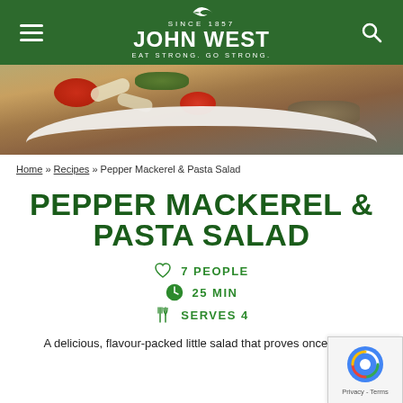SINCE 1857 JOHN WEST EAT STRONG. GO STRONG.
[Figure (photo): Hero image of a pasta salad dish with tomatoes, white beans, greens, and mackerel on a white plate, viewed from above]
Home » Recipes » Pepper Mackerel & Pasta Salad
PEPPER MACKEREL & PASTA SALAD
♡ 7 PEOPLE
🕐 25 MIN
🍴 SERVES 4
A delicious, flavour-packed little salad that proves once again that a tin of tuna can save you from a boring meal.